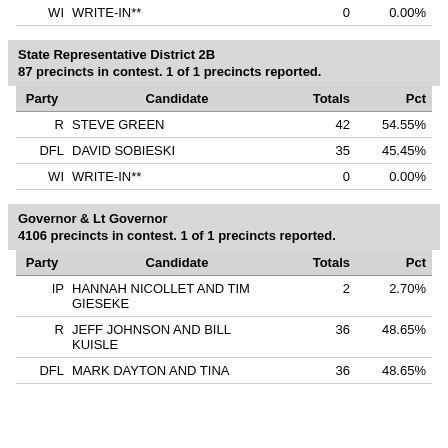| Party | Candidate | Totals | Pct |
| --- | --- | --- | --- |
| WI | WRITE-IN** | 0 | 0.00% |
State Representative District 2B
87 precincts in contest. 1 of 1 precincts reported.
| Party | Candidate | Totals | Pct |
| --- | --- | --- | --- |
| R | STEVE GREEN | 42 | 54.55% |
| DFL | DAVID SOBIESKI | 35 | 45.45% |
| WI | WRITE-IN** | 0 | 0.00% |
Governor & Lt Governor
4106 precincts in contest. 1 of 1 precincts reported.
| Party | Candidate | Totals | Pct |
| --- | --- | --- | --- |
| IP | HANNAH NICOLLET AND TIM GIESEKE | 2 | 2.70% |
| R | JEFF JOHNSON AND BILL KUISLE | 36 | 48.65% |
| DFL | MARK DAYTON AND TINA | 36 | 48.65% |